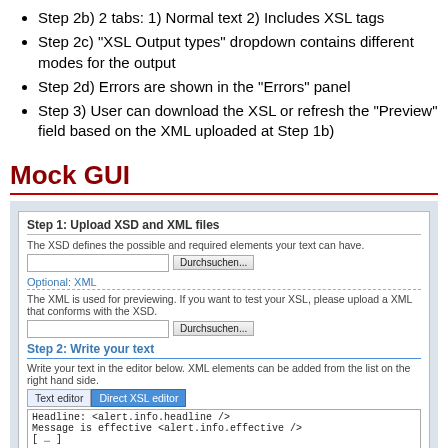Step 2b) 2 tabs: 1) Normal text 2) Includes XSL tags
Step 2c) "XSL Output types" dropdown contains different modes for the output
Step 2d) Errors are shown in the "Errors" panel
Step 3) User can download the XSL or refresh the "Preview" field based on the XML uploaded at Step 1b)
Mock GUI
[Figure (screenshot): Mock GUI screenshot showing Step 1: Upload XSD and XML files with file browser buttons (Durchsuchen...), an Optional XML section, Step 2: Write your text with a text editor area showing tabs for 'Text editor' and 'Direct XSL editor', and sample content with Headline and Message fields.]